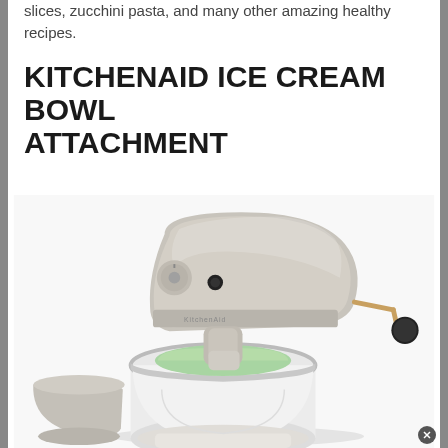slices, zucchini pasta, and many other amazing healthy recipes.
KITCHENAID ICE CREAM BOWL ATTACHMENT
[Figure (photo): A KitchenAid stand mixer in brushed silver/nickel finish with an ice cream bowl attachment. The bowl attachment is white with a light green ice cream mixture being churned. A separate silver mixing bowl is visible at the lower left. The mixer has a black knob handle on the right side.]